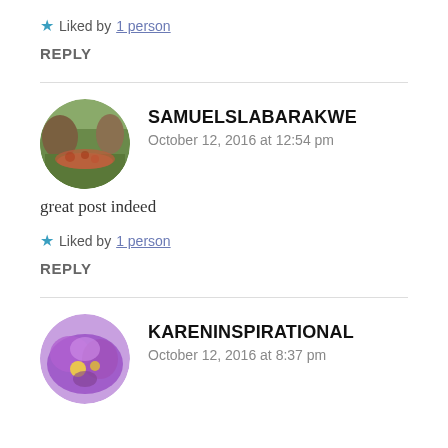★ Liked by 1 person
REPLY
SAMUELSLABARAKWE
October 12, 2016 at 12:54 pm
great post indeed
★ Liked by 1 person
REPLY
KARENINSPIRATIONAL
October 12, 2016 at 8:37 pm